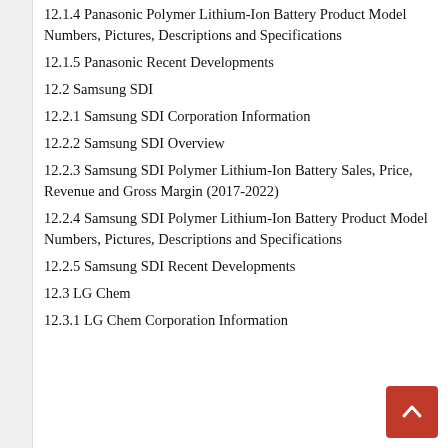12.1.4 Panasonic Polymer Lithium-Ion Battery Product Model Numbers, Pictures, Descriptions and Specifications
12.1.5 Panasonic Recent Developments
12.2 Samsung SDI
12.2.1 Samsung SDI Corporation Information
12.2.2 Samsung SDI Overview
12.2.3 Samsung SDI Polymer Lithium-Ion Battery Sales, Price, Revenue and Gross Margin (2017-2022)
12.2.4 Samsung SDI Polymer Lithium-Ion Battery Product Model Numbers, Pictures, Descriptions and Specifications
12.2.5 Samsung SDI Recent Developments
12.3 LG Chem
12.3.1 LG Chem Corporation Information